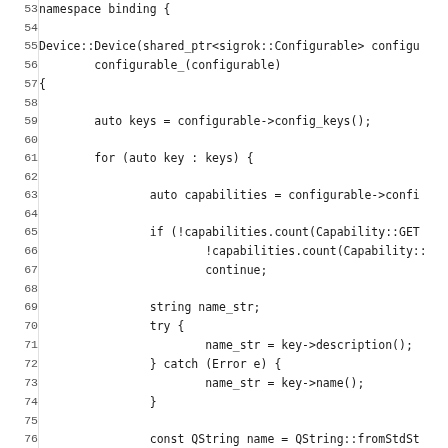[Figure (screenshot): Source code listing showing C++ code for Device::Device constructor in namespace binding, lines 53-84, displaying configuration key iteration, capability checking, property getter/setter setup.]